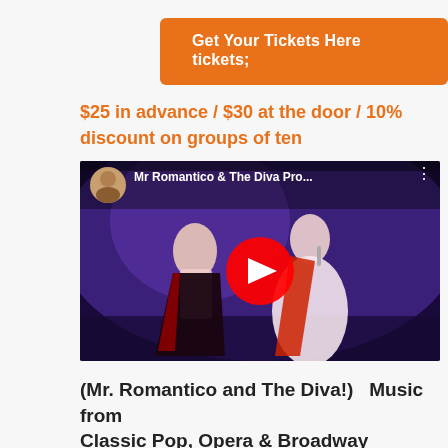[Figure (other): Orange button: Get Your Tickets Here with ticket icon]
$25 in advance / $30 at the door / 10% discount on groups of ten
[Figure (screenshot): YouTube video embed showing Mr Romantico & The Diva Pro... with two performers on stage in purple lighting, red play button overlay]
(Mr. Romantico and The Diva!)   Music from Classic Pop, Opera & Broadway